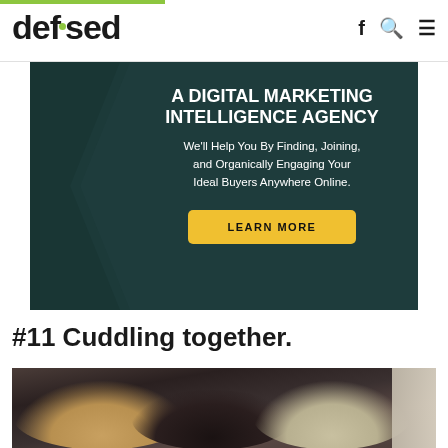defused
[Figure (infographic): Advertisement banner for a digital marketing intelligence agency with dark teal background, chevron graphic on left, bold white text reading 'A DIGITAL MARKETING INTELLIGENCE AGENCY', subtext 'We'll Help You By Finding, Joining, and Organically Engaging Your Ideal Buyers Anywhere Online.', and a yellow 'LEARN MORE' button.]
#11 Cuddling together.
[Figure (photo): Three dogs cuddling together on a dark leather couch. Two appear to be brindle/tan colored and one is black. A person's arm with a patterned sleeve is visible on the right side.]